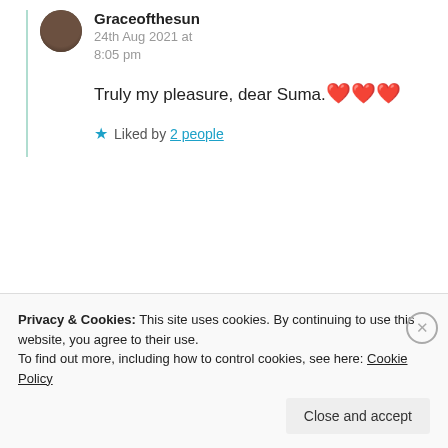Graceofthesun
24th Aug 2021 at 8:05 pm
Truly my pleasure, dear Suma. ❤️❤️❤️
★ Liked by 2 people
Advertisements
[Figure (logo): Automattic logo with orange circle O]
Build a better web and a better world.
REPORT THIS AD
Privacy & Cookies: This site uses cookies. By continuing to use this website, you agree to their use.
To find out more, including how to control cookies, see here: Cookie Policy
Close and accept